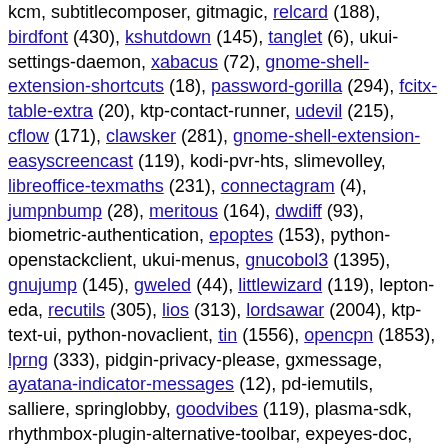kcm, subtitlecomposer, gitmagic, relcard (188), birdfont (430), kshutdown (145), tanglet (6), ukui-settings-daemon, xabacus (72), gnome-shell-extension-shortcuts (18), password-gorilla (294), fcitx-table-extra (20), ktp-contact-runner, udevil (215), cflow (171), clawsker (281), gnome-shell-extension-easyscreencast (119), kodi-pvr-hts, slimevolley, libreoffice-texmaths (231), connectagram (4), jumpnbump (28), meritous (164), dwdiff (93), biometric-authentication, epoptes (153), python-openstackclient, ukui-menus, gnucobol3 (1395), gnujump (145), gweled (44), littlewizard (119), lepton-eda, recutils (305), lios (313), lordsawar (2004), ktp-text-ui, python-novaclient, tin (1556), opencpn (1853), lprng (333), pidgin-privacy-please, gxmessage, ayatana-indicator-messages (12), pd-iemutils, salliere, springlobby, goodvibes (119), plasma-sdk, rhythmbox-plugin-alternative-toolbar, expeyes-doc, quarry (447), django-filter, wxglade (238), gtkmm-documentation, ktp-call-ui, gnome-mastermind, blobandconquer, gnome-authenticator, neutron, gsmlib (385), libmoox-options-perl (25), jack-